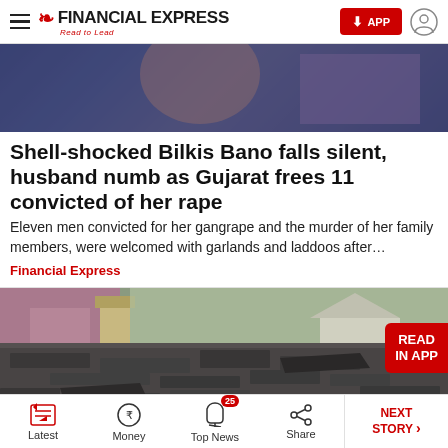Financial Express - Read to Lead
[Figure (photo): Blurred close-up photo with blue-purple tones, appears to show a person]
Shell-shocked Bilkis Bano falls silent, husband numb as Gujarat frees 11 convicted of her rape
Eleven men convicted for her gangrape and the murder of her family members, were welcomed with garlands and laddoos after…
Financial Express
[Figure (photo): Photo of a damaged shingle roof with trees and a house chimney in the background. A 'READ IN APP' badge is shown in the top right corner.]
Latest | Money | Top News 25 | Share | NEXT STORY